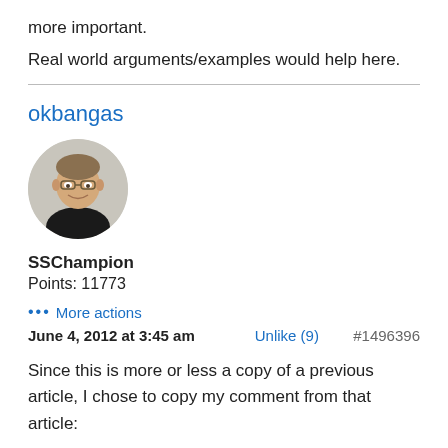more important.
Real world arguments/examples would help here.
okbangas
[Figure (photo): Circular avatar photo of a young man with glasses and a dark shirt, smiling, against a light background.]
SSChampion
Points: 11773
… More actions
June 4, 2012 at 3:45 am   Unlike (9)   #1496396
Since this is more or less a copy of a previous article, I chose to copy my comment from that article: